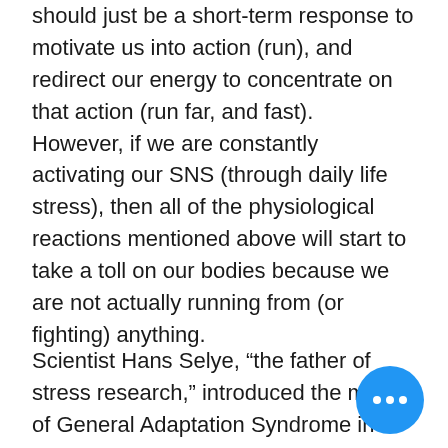should just be a short-term response to motivate us into action (run), and redirect our energy to concentrate on that action (run far, and fast).  However, if we are constantly activating our SNS (through daily life stress), then all of the physiological reactions mentioned above will start to take a toll on our bodies because we are not actually running from (or fighting) anything.
Scientist Hans Selye, “the father of stress research,” introduced the model of General Adaptation Syndrome in 1936.  He formulated the theory that stress is a major cause of disease because chronic stress causes long-term chemical changes in the body. The initial alarm reaction, or fight or